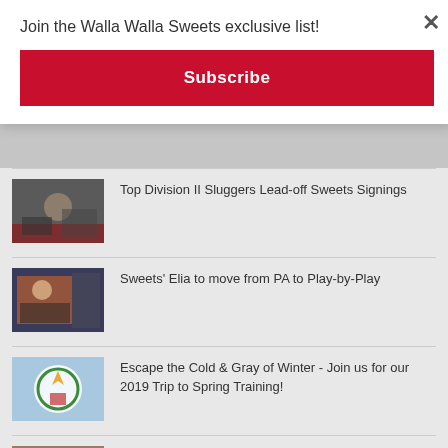Join the Walla Walla Sweets exclusive list!
Subscribe
Top Division II Sluggers Lead-off Sweets Signings
Sweets' Elia to move from PA to Play-by-Play
Escape the Cold & Gray of Winter - Join us for our 2019 Trip to Spring Training!
9 Years Ago Today...At Sharpstein Elementary